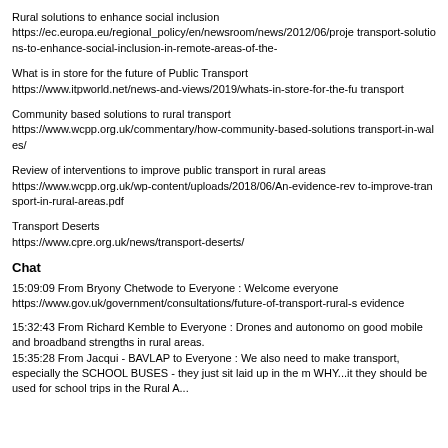Rural solutions to enhance social inclusion
https://ec.europa.eu/regional_policy/en/newsroom/news/2012/06/proje transport-solutions-to-enhance-social-inclusion-in-remote-areas-of-the-
What is in store for the future of Public Transport
https://www.itpworld.net/news-and-views/2019/whats-in-store-for-the-fu transport
Community based solutions to rural transport
https://www.wcpp.org.uk/commentary/how-community-based-solutions transport-in-wales/
Review of interventions to improve public transport in rural areas
https://www.wcpp.org.uk/wp-content/uploads/2018/06/An-evidence-rev to-improve-transport-in-rural-areas.pdf
Transport Deserts
https://www.cpre.org.uk/news/transport-deserts/
Chat
15:09:09 From  Bryony Chetwode  to  Everyone : Welcome everyone
https://www.gov.uk/government/consultations/future-of-transport-rural-s evidence
15:32:43 From  Richard Kemble  to  Everyone : Drones and autonomo on good mobile and broadband strengths in rural areas.
15:35:28 From  Jacqui - BAVLAP  to  Everyone : We also need to make transport, especially the SCHOOL BUSES - they just sit laid up in the m WHY...it they should be used for school trips in the Rural A...